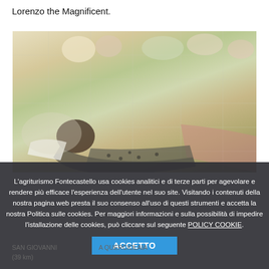Lorenzo the Magnificent.
[Figure (photo): A person lying down outdoors, with colorful flowers and a tiled or grid-pattern background visible. The photo appears to be from a news or article website.]
L'agriturismo Fontecastello usa cookies analitici e di terze parti per agevolare e rendere più efficace l'esperienza dell'utente nel suo site. Visitando i contenuti della nostra pagina web presta il suo consenso all'uso di questi strumenti e accetta la nostra Politica sulle cookies. Per maggiori informazioni e sulla possibilità di impedire l'istallazione delle cookies, può cliccare sul seguente POLICY COOKIE.
ACCETTO
SAN GIOVANNI ... A QUERCIOLAIA (39 km)